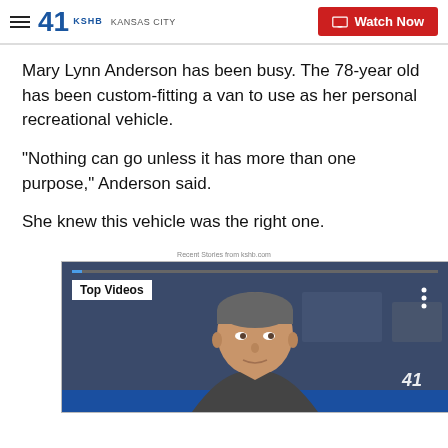41 KSHB KANSAS CITY | Watch Now
Mary Lynn Anderson has been busy. The 78-year old has been custom-fitting a van to use as her personal recreational vehicle.
"Nothing can go unless it has more than one purpose," Anderson said.
She knew this vehicle was the right one.
Recent Stories from kshb.com
[Figure (screenshot): Video player thumbnail showing a male news anchor in a TV studio with 'Top Videos' label in upper left corner and KSHB logo visible]